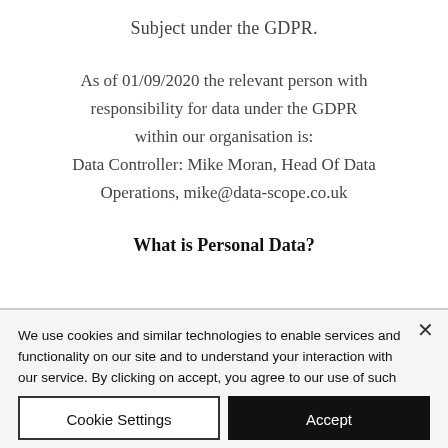Subject under the GDPR.
As of 01/09/2020 the relevant person with responsibility for data under the GDPR within our organisation is: Data Controller: Mike Moran, Head Of Data Operations, mike@data-scope.co.uk
What is Personal Data?
We use cookies and similar technologies to enable services and functionality on our site and to understand your interaction with our service. By clicking on accept, you agree to our use of such technologies for marketing and analytics. See Privacy Policy